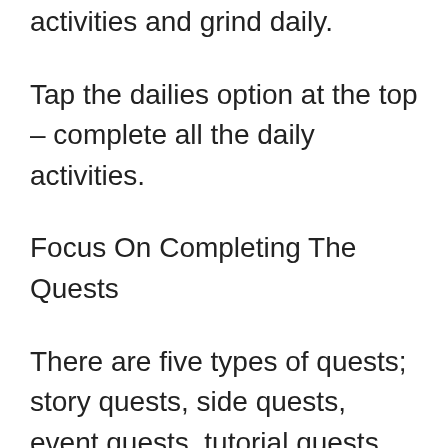activities and grind daily.
Tap the dailies option at the top – complete all the daily activities.
Focus On Completing The Quests
There are five types of quests; story quests, side quests, event quests, tutorial quests, and character quests. All these quests are important and you must focus on completing them to progress further in the game. For example – tutorial quest unlocks new functions such as gems, runes, pets in the game. Story Quests give a massive amount